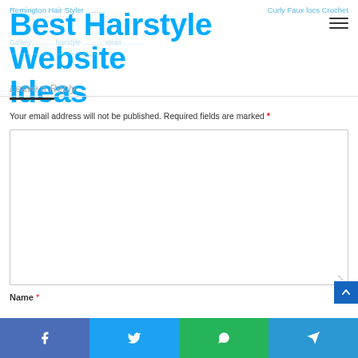Remington Hair Styler ... Curly Faux locs Crochet
Best Hairstyle Website Ideas
Leave a Reply
Your email address will not be published. Required fields are marked *
Name *
Facebook | Twitter | WhatsApp | Telegram